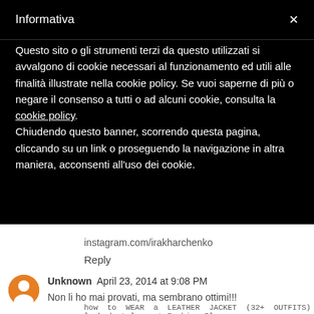Informativa
Questo sito o gli strumenti terzi da questo utilizzati si avvalgono di cookie necessari al funzionamento ed utili alle finalità illustrate nella cookie policy. Se vuoi saperne di più o negare il consenso a tutti o ad alcuni cookie, consulta la cookie policy.
Chiudendo questo banner, scorrendo questa pagina, cliccando su un link o proseguendo la navigazione in altra maniera, acconsenti all'uso dei cookie.
instagram.com/irakharchenko
Reply
Unknown  April 23, 2014 at 9:08 PM
Non li ho mai provati, ma sembrano ottimi!!!
how to WEAR a LEATHER JACKET (32+ OUTFITS) on lowbudget-lowcost Fashion Blog